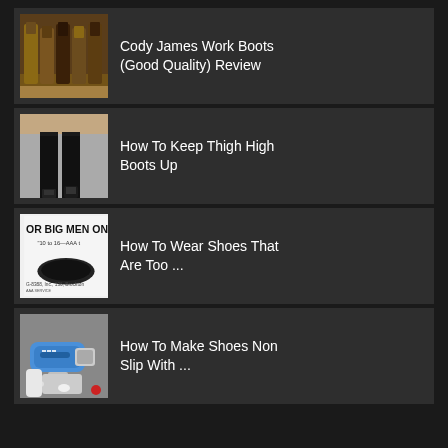Cody James Work Boots (Good Quality) Review
How To Keep Thigh High Boots Up
How To Wear Shoes That Are Too ...
How To Make Shoes Non Slip With ...